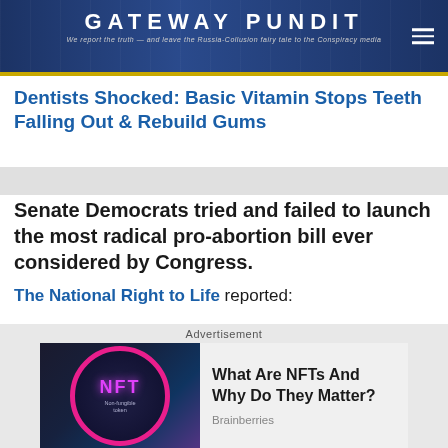GATEWAY PUNDIT — We report the truth — and leave the Russia-Collusion fairy tale to the Conspiracy media
Dentists Shocked: Basic Vitamin Stops Teeth Falling Out & Rebuild Gums
Senate Democrats tried and failed to launch the most radical pro-abortion bill ever considered by Congress. The National Right to Life reported:
For more than before the abortion rights...
[Figure (screenshot): Advertisement: NFT coin image with text 'What Are NFTs And Why Do They Matter?' from Brainberries]
Advertisement
What Are NFTs And Why Do They Matter? — Brainberries